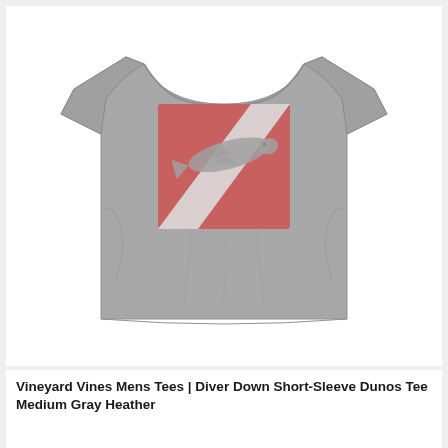[Figure (photo): Back view of a gray heather short-sleeve t-shirt. On the back of the shirt is a graphic showing a scuba diver down flag (red square with white diagonal stripe from top-right to bottom-left) with a shark silhouette overlaid on the design.]
Vineyard Vines Mens Tees | Diver Down Short-Sleeve Dunos Tee Medium Gray Heather